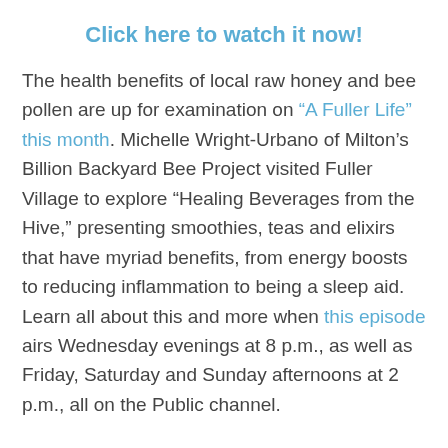Click here to watch it now!
The health benefits of local raw honey and bee pollen are up for examination on “A Fuller Life” this month. Michelle Wright-Urbano of Milton’s Billion Backyard Bee Project visited Fuller Village to explore “Healing Beverages from the Hive,” presenting smoothies, teas and elixirs that have myriad benefits, from energy boosts to reducing inflammation to being a sleep aid. Learn all about this and more when this episode airs Wednesday evenings at 8 p.m., as well as Friday, Saturday and Sunday afternoons at 2 p.m., all on the Public channel.